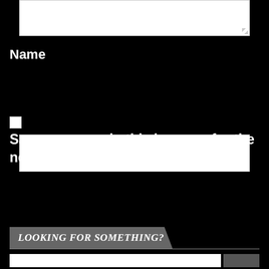[Figure (screenshot): Top portion of a web comment form showing a textarea input box (cropped at top)]
Name
[Figure (screenshot): Text input field for Name]
[Figure (screenshot): Checkbox (unchecked)]
Save my name in this browser for the next time I comment.
[Figure (screenshot): Post Comment button]
LOOKING FOR SOMETHING?